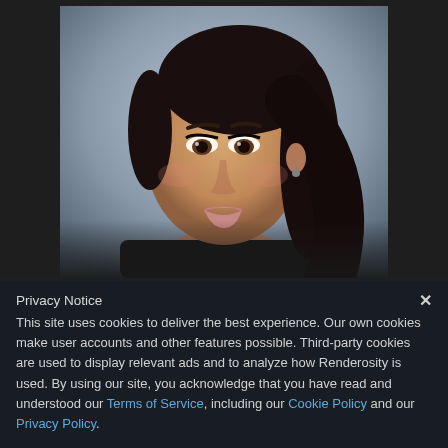[Figure (photo): Portrait photograph of a young woman with dark hair pulled back, wearing a dark top, with a blurred city background. The photo is set against a dark gray page background.]
Privacy Notice
This site uses cookies to deliver the best experience. Our own cookies make user accounts and other features possible. Third-party cookies are used to display relevant ads and to analyze how Renderosity is used. By using our site, you acknowledge that you have read and understood our Terms of Service, including our Cookie Policy and our Privacy Policy.